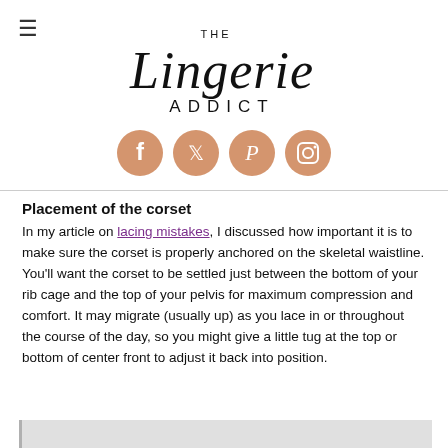The Lingerie Addict
[Figure (logo): The Lingerie Addict logo with script font and social media icons (Facebook, Twitter, Pinterest, Instagram)]
Placement of the corset
In my article on lacing mistakes, I discussed how important it is to make sure the corset is properly anchored on the skeletal waistline. You'll want the corset to be settled just between the bottom of your rib cage and the top of your pelvis for maximum compression and comfort. It may migrate (usually up) as you lace in or throughout the course of the day, so you might give a little tug at the top or bottom of center front to adjust it back into position.
[Figure (photo): Partially visible image at the bottom of the page]